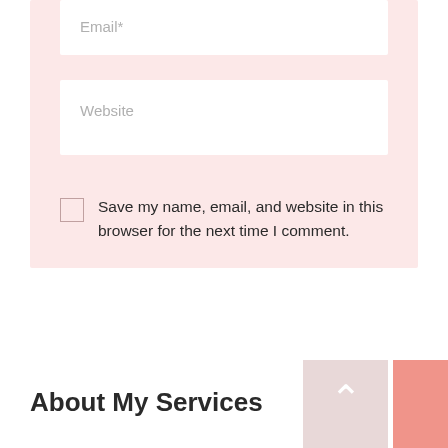Email*
Website
Save my name, email, and website in this browser for the next time I comment.
POST COMMENT
About My Services